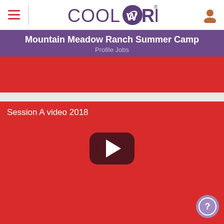COOLWORKS
Mountain Meadow Ranch Summer Camp
Profile Jobs
[Figure (screenshot): Red rectangular banner area (partial, cropped at top of content area)]
[Figure (screenshot): YouTube-style video embed with red background showing 'Session A video 2018' title and a play button in the center]
Session A video 2018